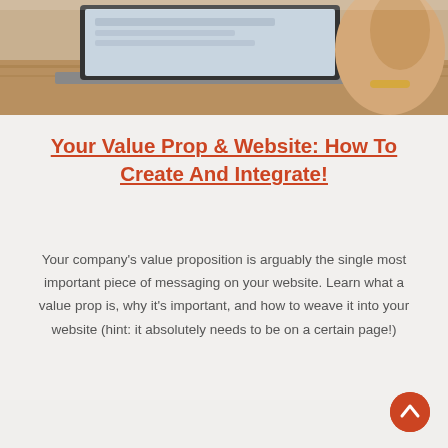[Figure (photo): Photo of a laptop on a desk with a person's hand visible, cropped at top of card]
Your Value Prop & Website: How To Create And Integrate!
Your company's value proposition is arguably the single most important piece of messaging on your website. Learn what a value prop is, why it's important, and how to weave it into your website (hint: it absolutely needs to be on a certain page!)